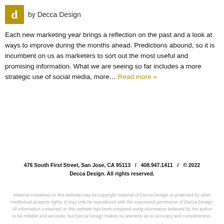by Decca Design
Each new marketing year brings a reflection on the past and a look at ways to improve during the months ahead. Predictions abound, so it is incumbent on us as marketers to sort out the most useful and promising information. What we are seeing so far includes a more strategic use of social media, more… Read more »
476 South First Street, San Jose, CA 95113   /   408.947.1411   /   © 2022 Decca Design. All rights reserved.
Material contained on this website may be copyright material of Decca Design or protected by other intellectual property rights. It may only be reproduced with the expressed permission of Decca Design. All information contained on this website has been prepared using information believed by the author to be reliable and accurate, but Decca Design makes no warranty as to accuracy and completeness.